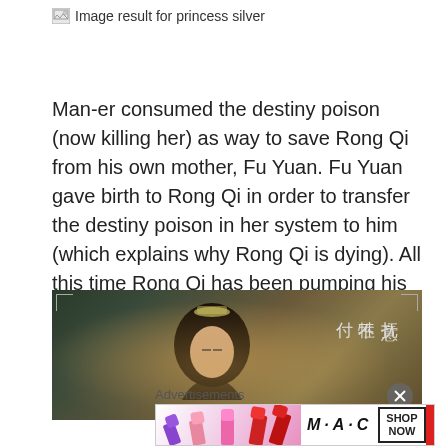[Figure (illustration): Broken image placeholder labeled 'Image result for princess silver']
Man-er consumed the destiny poison (now killing her) as way to save Rong Qi from his own mother, Fu Yuan. Fu Yuan gave birth to Rong Qi in order to transfer the destiny poison in her system to him (which explains why Rong Qi is dying). All this time Rong Qi has been pumping his body with an antidote to ultimately sacrifice himself for Man-er. The different types of poisons in this drama becomes really confusing…
[Figure (screenshot): Screenshot from a drama showing a woman with a crown/tiara, dark background, Chinese characters on the right side]
Advertisements
[Figure (photo): MAC cosmetics advertisement banner showing lipsticks in purple, pink, and red colors with MAC logo and SHOP NOW button]